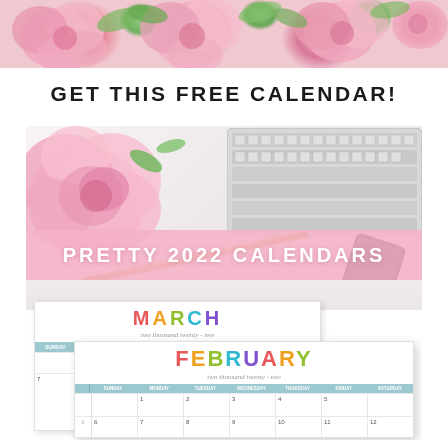[Figure (photo): Floral banner at top with pink roses/peonies and green leaves on a light background]
GET THIS FREE CALENDAR!
[Figure (photo): Promotional image for Pretty 2022 Calendars showing pink peonies and keyboard at top, pink banner reading 'PRETTY 2022 CALENDARS', desk with pencil and phone, and two overlapping calendar pages for March and February 2022 with colorful rainbow lettering]